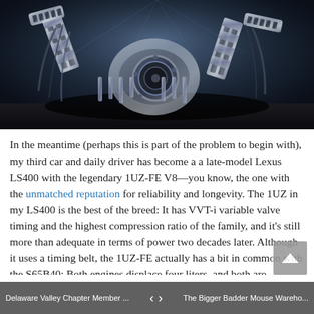[Figure (photo): Black and white / dark-toned photograph of a V8 engine (1UZ-FE style), disassembled or rendered in exploded view, showing cylinders, intake manifold, pistons, and metallic engine components against a dark blue background.]
In the meantime (perhaps this is part of the problem to begin with), my third car and daily driver has become a a late-model Lexus LS400 with the legendary 1UZ-FE V8—you know, the one with the unmatched reputation for reliability and longevity. The 1UZ in my LS400 is the best of the breed: It has VVT-i variable valve timing and the highest compression ratio of the family, and it's still more than adequate in terms of power two decades later. Although it uses a timing belt, the 1UZ-FE actually has a bit in common with the S65B40: Both engines displace four liters, and both are oversquare in terms of their bore and stroke, but the BMW engine is obviously more so, which is part of why it can rev to 8,400 rpm. The Lexus engine also loves to rev, which is a bit antithetical to its
Delaware Valley Chapter Member ...    ‹  ›    The Bigger Badder Mouse Wareho...